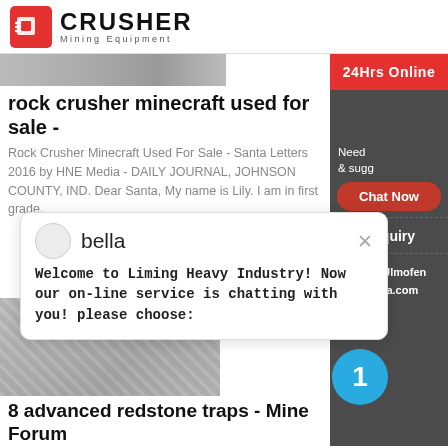CRUSHER Mining Equipment
[Figure (photo): Top image strip of rock/stone surface]
rock crusher minecraft used for sale -
Rock Crusher Minecraft Used For Sale - Santa Letters 2016 by HNE Media - DAILY JOURNAL, JOHNSON COUNTY, IND. Dear Santa, My name is Lily. I am in first grade.
bella
Welcome to Liming Heavy Industry! Now our on-line service is chatting with you! please choose:
[Figure (photo): Rock crusher machine image]
8 advanced redstone traps - Mine Forum
· Hello, I have a whole world in minecraft for d traps and I decided to share a few of them. 8. th choice Compact, small and ideal for...